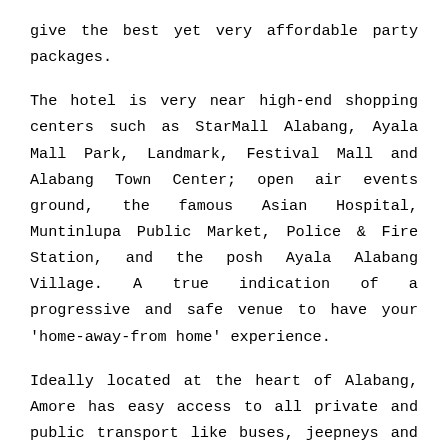give the best yet very affordable party packages.
The hotel is very near high-end shopping centers such as StarMall Alabang, Ayala Mall Park, Landmark, Festival Mall and Alabang Town Center; open air events ground, the famous Asian Hospital, Muntinlupa Public Market, Police & Fire Station, and the posh Ayala Alabang Village. A true indication of a progressive and safe venue to have your 'home-away-from home' experience.
Ideally located at the heart of Alabang, Amore has easy access to all private and public transport like buses, jeepneys and taxis plying the main roads and connect the city to its surrounding towns and cities. AMORE Hotel can handle the requirements of